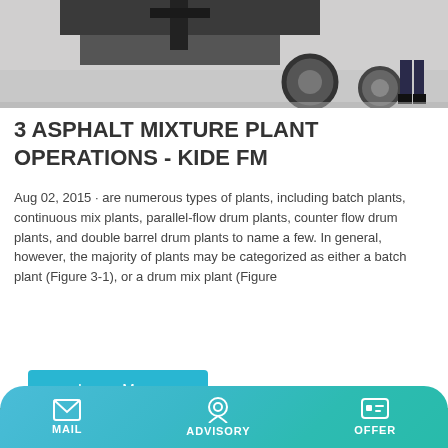[Figure (photo): Top portion of a vehicle/machinery on a concrete surface, showing wheels and mechanical parts]
3 ASPHALT MIXTURE PLANT OPERATIONS - KIDE FM
Aug 02, 2015 · are numerous types of plants, including batch plants, continuous mix plants, parallel-flow drum plants, counter flow drum plants, and double barrel drum plants to name a few. In general, however, the majority of plants may be categorized as either a batch plant (Figure 3-1), or a drum mix plant (Figure
[Figure (photo): Yellow/orange industrial machinery (asphalt plant drum mixer) in a factory or outdoor setting]
MAIL   ADVISORY   OFFER